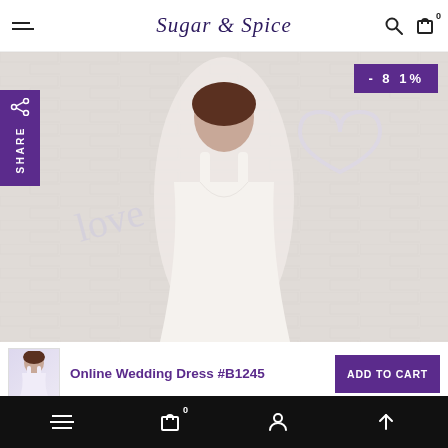Sugar & Spice — navigation header with hamburger menu, logo, search and cart icons
[Figure (photo): Full-width product photo of a woman in a white wedding dress against a white brick wall backdrop, with neon 'love' lettering and heart decoration, a purple -81% discount badge top-right, and a purple SHARE panel on the left side]
Online Wedding Dress #B1245
ADD TO CART
Bottom navigation bar with hamburger menu, cart (0), account, and scroll-up icons